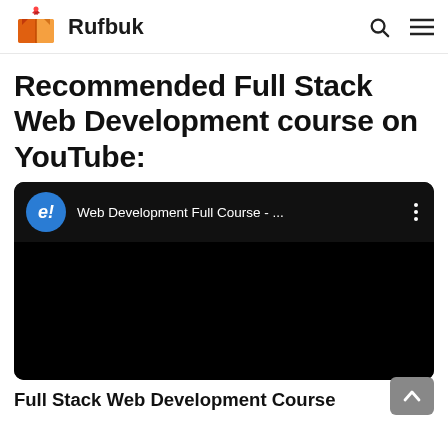Rufbuk
Recommended Full Stack Web Development course on YouTube:
[Figure (screenshot): YouTube video embed thumbnail showing a video titled 'Web Development Full Course - ...' with a blue channel icon featuring 'e!' text, on a dark/black background]
Full Stack Web Development Course